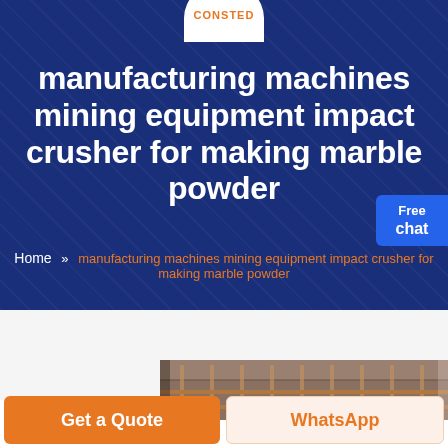CONSTED
manufacturing machines mining equipment impact crusher for making marble powder
Home » manufacturing machines mining equipment impact crusher for making marble powder
[Figure (photo): Industrial manufacturing facility interior showing machinery and equipment]
Get a Quote
WhatsApp